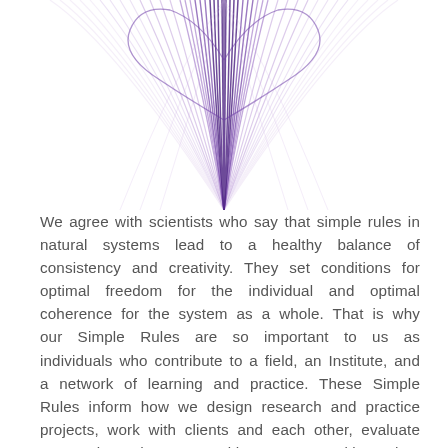[Figure (illustration): Abstract purple/lavender draping curtain-like or heart-shaped illustration made of many curved lines, fading from dark purple in the center to light lavender at the edges, against a white background. The image is cropped and shows only the upper portion.]
We agree with scientists who say that simple rules in natural systems lead to a healthy balance of consistency and creativity. They set conditions for optimal freedom for the individual and optimal coherence for the system as a whole. That is why our Simple Rules are so important to us as individuals who contribute to a field, an Institute, and a network of learning and practice. These Simple Rules inform how we design research and practice projects, work with clients and each other, evaluate our work, and connect with our communities. They create for us coherent patterns of thought and action that help us move toward our goals with coherence and innovation. This short list of Simple Rules is specifically designed to help us shape the patterns that will